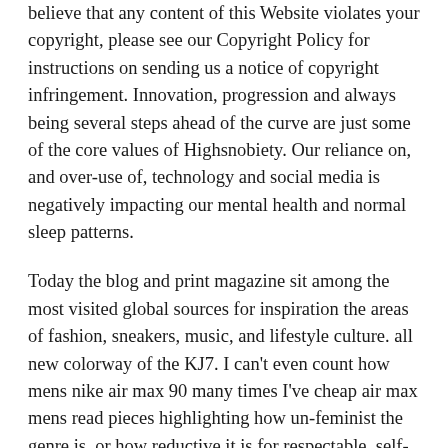believe that any content of this Website violates your copyright, please see our Copyright Policy for instructions on sending us a notice of copyright infringement. Innovation, progression and always being several steps ahead of the curve are just some of the core values of Highsnobiety. Our reliance on, and over-use of, technology and social media is negatively impacting our mental health and normal sleep patterns.
Today the blog and print magazine sit among the most visited global sources for inspiration the areas of fashion, sneakers, music, and lifestyle culture. all new colorway of the KJ7. I can't even count how mens nike air max 90 many times I've cheap air max mens read pieces highlighting how un-feminist the genre is, or how reductive it is for respectable, self-loving women to actively enjoy music with such disregard for our own gender. He debuted the KD 10 the Western Conference finals and the new KD 10 Numbers colorway, the first